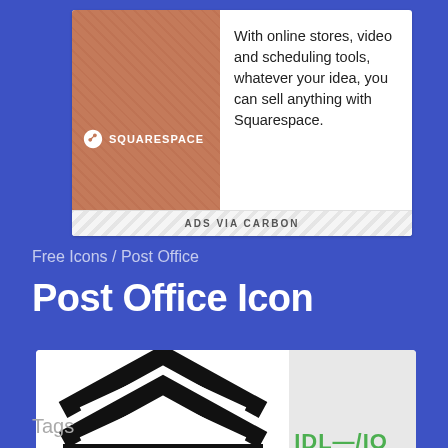[Figure (screenshot): Squarespace advertisement banner with logo, texture image, and text 'With online stores, video and scheduling tools, whatever your idea, you can sell anything with Squarespace.' with 'ADS VIA CARBON' footer]
Free Icons / Post Office
Post Office Icon
[Figure (illustration): Post Office icon showing a building roofline/chevron shape in black outline on white background, partially visible]
Tags